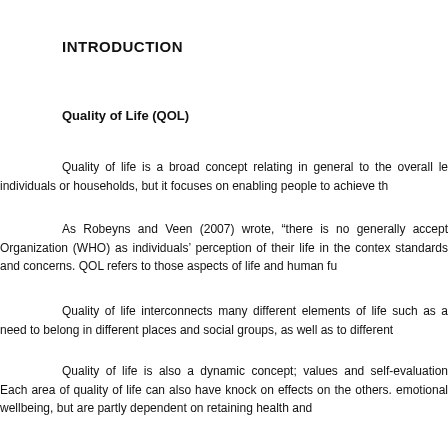INTRODUCTION
Quality of Life (QOL)
Quality of life is a broad concept relating in general to the overall le individuals or households, but it focuses on enabling people to achieve th
As Robeyns and Veen (2007) wrote, “there is no generally accept Organization (WHO) as individuals’ perception of their life in the contex standards and concerns. QOL refers to those aspects of life and human fu
Quality of life interconnects many different elements of life such as a need to belong in different places and social groups, as well as to different
Quality of life is also a dynamic concept; values and self-evaluation Each area of quality of life can also have knock on effects on the others. emotional wellbeing, but are partly dependent on retaining health and